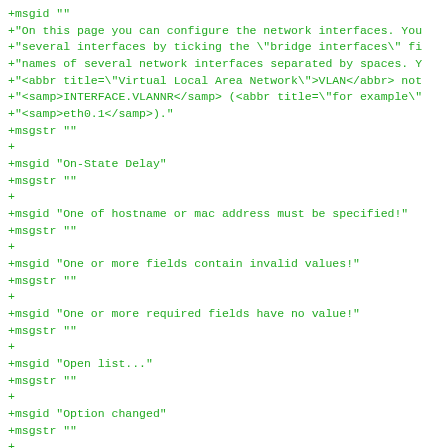+msgid ""
+"On this page you can configure the network interfaces. You
+"several interfaces by ticking the \"bridge interfaces\" fi
+"names of several network interfaces separated by spaces. Y
+"<abbr title=\"Virtual Local Area Network\">VLAN</abbr> not
+"<samp>INTERFACE.VLANNR</samp> (<abbr title=\"for example\"
+"<samp>eth0.1</samp>)."
+msgstr ""
+
+msgid "On-State Delay"
+msgstr ""
+
+msgid "One of hostname or mac address must be specified!"
+msgstr ""
+
+msgid "One or more fields contain invalid values!"
+msgstr ""
+
+msgid "One or more required fields have no value!"
+msgstr ""
+
+msgid "Open list..."
+msgstr ""
+
+msgid "Option changed"
+msgstr ""
+
+msgid "Option removed"
+msgstr ""
+
+msgid "Options"
+msgstr ""